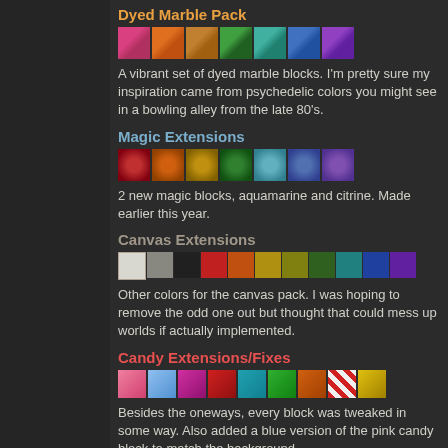Dyed Marble Pack
[Figure (illustration): Row of 7 colored marble block swatches: pink, orange, yellow-orange, green, teal, blue, purple]
A vibrant set of dyed marble blocks. I'm pretty sure my inspiration came from psychedelic colors you might see in a bowling alley from the late 80's.
Magic Extensions
[Figure (illustration): Row of 7 colored magic block swatches with sparkle textures: red, orange, gold, green, light blue, blue, purple]
2 new magic blocks, aquamarine and citrine. Made earlier this year.
Canvas Extensions
[Figure (illustration): Row of canvas block swatches: white textured, gray, black, red, orange, yellow, olive, green, teal, blue, purple]
Other colors for the canvas pack. I was hoping to remove the odd one out but thought that could mess up worlds if actually implemented.
Candy Extensions/Fixes
[Figure (illustration): Row of candy block swatches: pink, light blue, magenta, red, teal, green, orange, red-white striped, yellow]
Besides the oneways, every block was tweaked in some way. Also added a blue version of the pink candy block to match the background.
I redid the dyed marble pack and uncovered some more files of mine. Decided to tweak them a bit. Also, all smileys now have gold border variants.